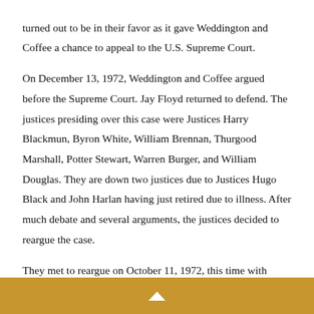turned out to be in their favor as it gave Weddington and Coffee a chance to appeal to the U.S. Supreme Court.

On December 13, 1972, Weddington and Coffee argued before the Supreme Court. Jay Floyd returned to defend. The justices presiding over this case were Justices Harry Blackmun, Byron White, William Brennan, Thurgood Marshall, Potter Stewart, Warren Burger, and William Douglas. They are down two justices due to Justices Hugo Black and John Harlan having just retired due to illness. After much debate and several arguments, the justices decided to reargue the case.

They met to reargue on October 11, 1972, this time with...
^